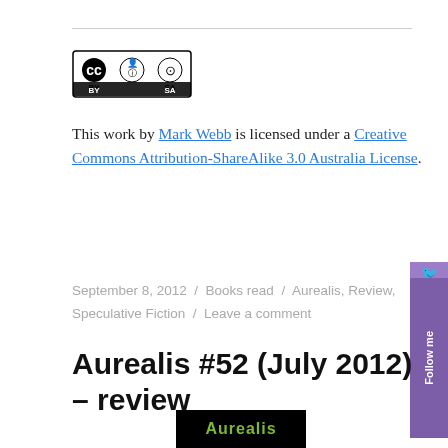[Figure (logo): Creative Commons CC BY SA badge/logo]
This work by Mark Webb is licensed under a Creative Commons Attribution-ShareAlike 3.0 Australia License.
September 8, 2012 / Books read / Aurealis, Review, Speculative Fiction / Leave a comment
Aurealis #52 (July 2012) – review
[Figure (logo): Aurealis magazine logo at bottom of page, green text on black background]